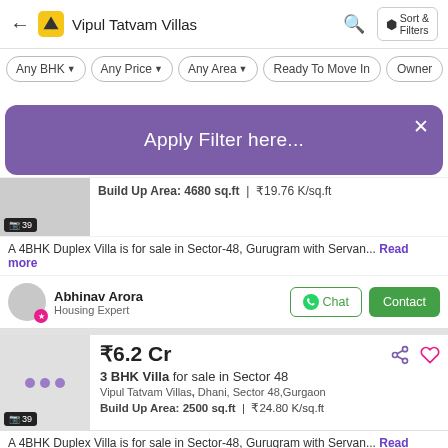Vipul Tatvam Villas
[Figure (screenshot): Filter bar with options: Any BHK, Any Price, Any Area, Ready To Move In, Owner]
[Figure (screenshot): Purple popup tooltip saying 'Apply Filter here...' with X close button]
Build Up Area: 4680 sq.ft | ₹19.76 K/sq.ft
A 4BHK Duplex Villa is for sale in Sector-48, Gurugram with Servan... Read more
Abhinav Arora
Housing Expert
₹6.2 Cr
3 BHK Villa for sale in Sector 48
Vipul Tatvam Villas, Dhani, Sector 48,Gurgaon
Build Up Area: 2500 sq.ft | ₹24.80 K/sq.ft
A 4BHK Duplex Villa is for sale in Sector-48, Gurugram with Servan... Read more